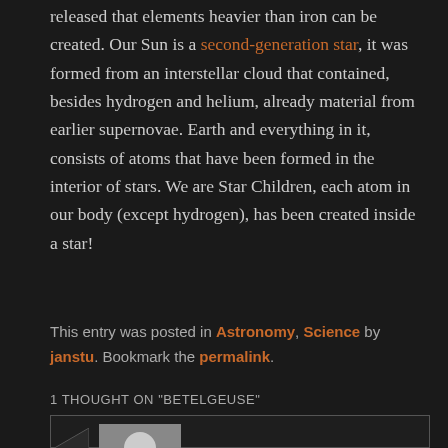released that elements heavier than iron can be created. Our Sun is a second-generation star, it was formed from an interstellar cloud that contained, besides hydrogen and helium, already material from earlier supernovae. Earth and everything in it, consists of atoms that have been formed in the interior of stars. We are Star Children, each atom in our body (except hydrogen), has been created inside a star!
This entry was posted in Astronomy, Science by janstu. Bookmark the permalink.
1 THOUGHT ON "BETELGEUSE"
[Figure (photo): Default avatar placeholder image showing a silhouette of a person on gray background]
Roald on March 13, 2020 at 3:42 am said: